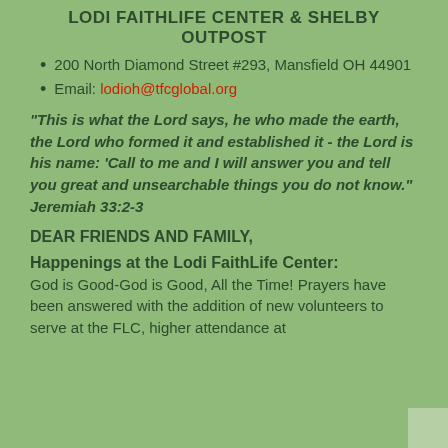LODI FAITHLIFE CENTER & SHELBY OUTPOST
200 North Diamond Street #293, Mansfield OH 44901
Email: lodioh@tfcglobal.org
"This is what the Lord says, he who made the earth, the Lord who formed it and established it - the Lord is his name: 'Call to me and I will answer you and tell you great and unsearchable things you do not know." Jeremiah 33:2-3
DEAR FRIENDS AND FAMILY,
Happenings at the Lodi FaithLife Center:
God is Good-God is Good, All the Time! Prayers have been answered with the addition of new volunteers to serve at the FLC, higher attendance at